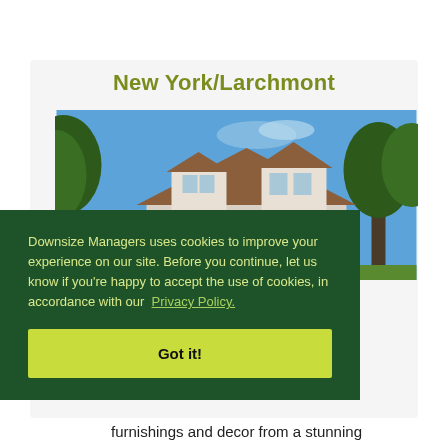New York/Larchmont
[Figure (photo): Exterior photo of a house with brown roof, white dormer windows, green trees, and blue sky in background.]
Downsize Managers uses cookies to improve your experience on our site. Before you continue, let us know if you’re happy to accept the use of cookies, in accordance with our Privacy Policy.
Got it!
furnishings and decor from a stunning